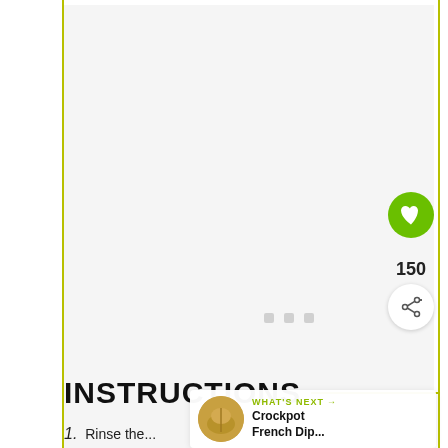[Figure (photo): Large image placeholder area with light gray background and three small gray loading squares in the center]
INSTRUCTIONS
1. Rinse the...
WHAT'S NEXT → Crockpot French Dip...
150